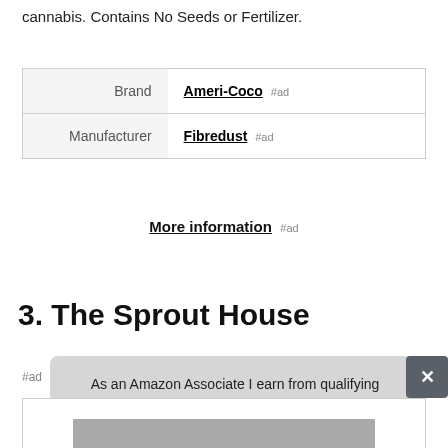cannabis. Contains No Seeds or Fertilizer.
|  |  |
| --- | --- |
| Brand | Ameri-Coco #ad |
| Manufacturer | Fibredust #ad |
More information #ad
3. The Sprout House
#ad
As an Amazon Associate I earn from qualifying purchases. This website uses the only necessary cookies to ensure you get the best experience on our website. More information
[Figure (photo): Partially visible product image at the bottom of the page]